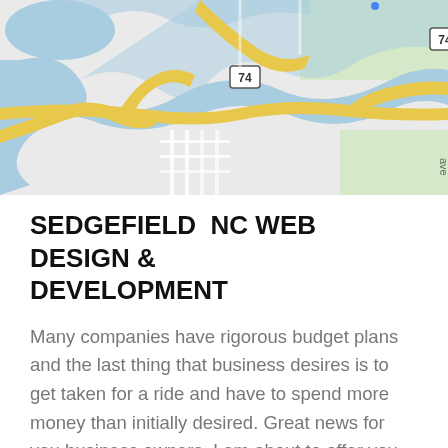[Figure (map): Google Maps screenshot showing road map with highway 74, yellow roads, blue water bodies/rivers, and green areas around Sedgefield, NC area.]
SEDGEFIELD  NC WEB DESIGN & DEVELOPMENT
Many companies have rigorous budget plans and the last thing that business desires is to get taken for a ride and have to spend more money than initially desired. Great news for you business owners, I am about to offer you some pointers on picking a small company website design business that is ideal for your business. The first and possibly the most important thing is due diligence. Doing research on a business is vital prior to signing agreements or handing any money over. Do a quick Google search with the companies name as the keyword.